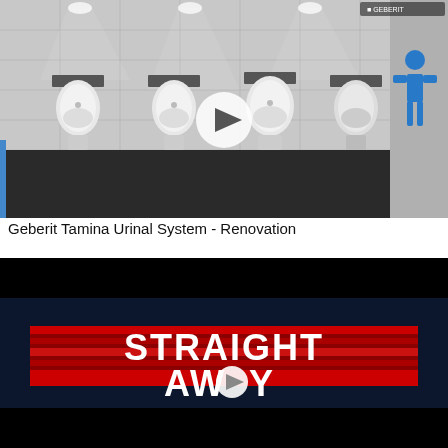[Figure (screenshot): Video thumbnail showing a commercial men's restroom with five wall-mounted urinals, white tiled walls, dark floor, spotlights, and a blue male figure icon on the right wall. A white circular play button is overlaid in the center. Geberit logo visible top right.]
Geberit Tamina Urinal System - Renovation
[Figure (screenshot): Video thumbnail with dark/black background showing bold white text reading 'STRAIGHT AWAY' on a red striped banner, with a small play button icon integrated into the letter 'O' in 'AWAY'.]